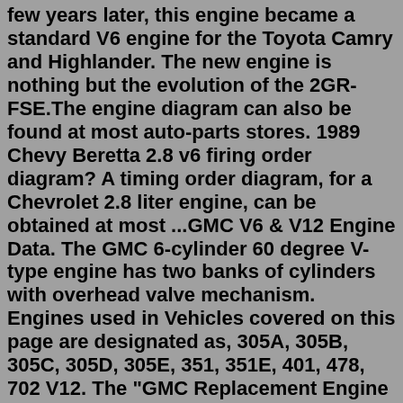few years later, this engine became a standard V6 engine for the Toyota Camry and Highlander. The new engine is nothing but the evolution of the 2GR-FSE.The engine diagram can also be found at most auto-parts stores. 1989 Chevy Beretta 2.8 v6 firing order diagram? A timing order diagram, for a Chevrolet 2.8 liter engine, can be obtained at most ...GMC V6 & V12 Engine Data. The GMC 6-cylinder 60 degree V-type engine has two banks of cylinders with overhead valve mechanism. Engines used in Vehicles covered on this page are designated as, 305A, 305B, 305C, 305D, 305E, 351, 351E, 401, 478, 702 V12. The "GMC Replacement Engine Catalogs" lists the following dry weights:Get Free Engine Diagram 1996 Taurus V6 able to get a diagram for the belt on a 2001 Ford Taurus 3.0L ... 1996 Taurus Engine Diagram - bitofnews.com Engine Diagram 1996 Taurus V6 Engine Diagram 1996 Taurus V6 Engine Diagram 1996 Taurus V6 - persepolis.wisc.edu Page 296 If the fluid is low, carefully clean and remove the cap from the reservoir ...Connection diagram of